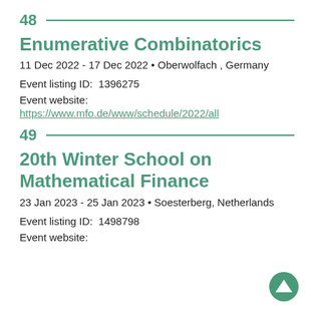48
Enumerative Combinatorics
11 Dec 2022 - 17 Dec 2022 • Oberwolfach , Germany
Event listing ID:  1396275
Event website:
https://www.mfo.de/www/schedule/2022/all
49
20th Winter School on Mathematical Finance
23 Jan 2023 - 25 Jan 2023 • Soesterberg, Netherlands
Event listing ID:  1498798
Event website: